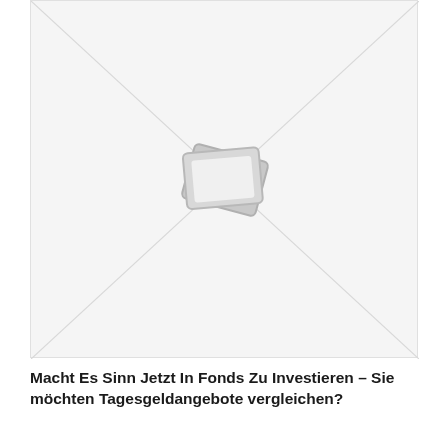[Figure (illustration): Placeholder image with diagonal cross lines and a stacked image/photo icon centered, on a light gray background]
Macht Es Sinn Jetzt In Fonds Zu Investieren – Sie möchten Tagesgeldangebote vergleichen?